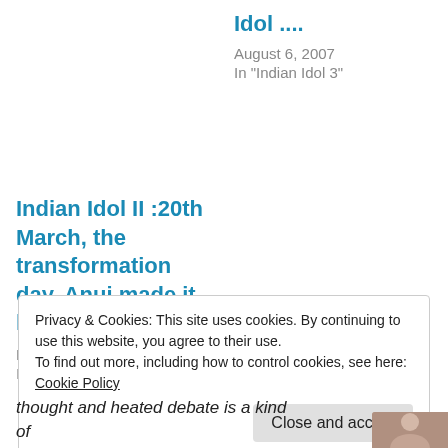Idol ....
August 6, 2007
In "Indian Idol 3"
Indian Idol II :20th March, the transformation day, Anuj made it higher ...
March 28, 2006
In "Indian Idol 2"
Privacy & Cookies: This site uses cookies. By continuing to use this website, you agree to their use.
To find out more, including how to control cookies, see here: Cookie Policy
thought and heated debate is a kind of